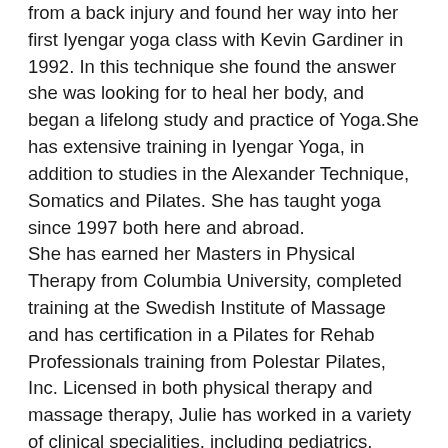from a back injury and found her way into her first Iyengar yoga class with Kevin Gardiner in 1992. In this technique she found the answer she was looking for to heal her body, and began a lifelong study and practice of Yoga.She has extensive training in Iyengar Yoga, in addition to studies in the Alexander Technique, Somatics and Pilates. She has taught yoga since 1997 both here and abroad. She has earned her Masters in Physical Therapy from Columbia University, completed training at the Swedish Institute of Massage and has certification in a Pilates for Rehab Professionals training from Polestar Pilates, Inc. Licensed in both physical therapy and massage therapy, Julie has worked in a variety of clinical specialities, including pediatrics, orthopedics, sports injury and dance injury.Her massage training includes myofascial unwinding, integrative deep-tissue massage and neuromuscular repatterning. She has a private practice in Manhattan and Brooklyn offering services in therapeutic bodywork, stress-reduction massage, and yoga privates. For more information, you may contact